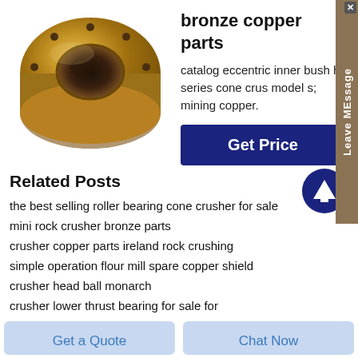[Figure (photo): Bronze copper cylindrical bushing part with circular flange, photographed from an angle showing the hollow center and bolt holes around the flange]
bronze copper parts
catalog eccentric inner bush h series cone crus model s; mining copper.
Get Price
Related Posts
the best selling roller bearing cone crusher for sale
mini rock crusher bronze parts
crusher copper parts ireland rock crushing
simple operation flour mill spare copper shield
crusher head ball monarch
crusher lower thrust bearing for sale for
Get a Quote
Chat Now